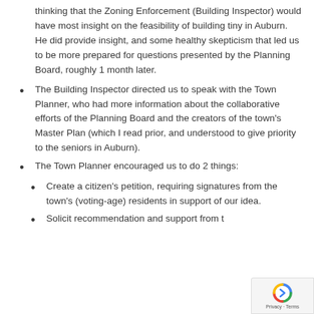thinking that the Zoning Enforcement (Building Inspector) would have most insight on the feasibility of building tiny in Auburn. He did provide insight, and some healthy skepticism that led us to be more prepared for questions presented by the Planning Board, roughly 1 month later.
The Building Inspector directed us to speak with the Town Planner, who had more information about the collaborative efforts of the Planning Board and the creators of the town’s Master Plan (which I read prior, and understood to give priority to the seniors in Auburn).
The Town Planner encouraged us to do 2 things:
Create a citizen’s petition, requiring signatures from the town’s (voting-age) residents in support of our idea.
Solicit recommendation and support from the town’s Planning Board and Selectmen, and